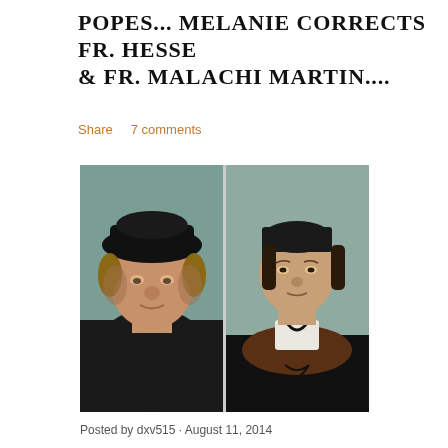POPES… MELANIE CORRECTS FR. HESSE & FR. MALACHI MARTIN….
Share   7 comments
[Figure (photo): Two Renaissance-style portrait paintings side by side: left portrait shows a heavyset man wearing a black hat and black robe; right portrait shows a woman wearing a dark headdress and fur-trimmed dark coat with white collar. Paintings are separated by a thin vertical grey divider line.]
Posted by dxv515 · August 11, 2014